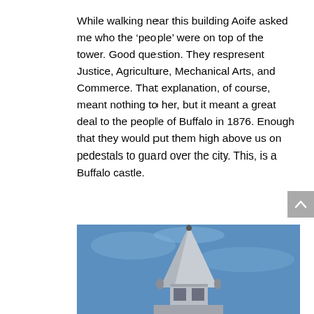While walking near this building Aoife asked me who the ‘people’ were on top of the tower. Good question. They respresent Justice, Agriculture, Mechanical Arts, and Commerce. That explanation, of course, meant nothing to her, but it meant a great deal to the people of Buffalo in 1876. Enough that they would put them high above us on pedestals to guard over the city. This, is a Buffalo castle.
[Figure (photo): A photograph of a building tower/steeple against a blue sky, showing a pointed spire with ornamental figures visible near the top.]